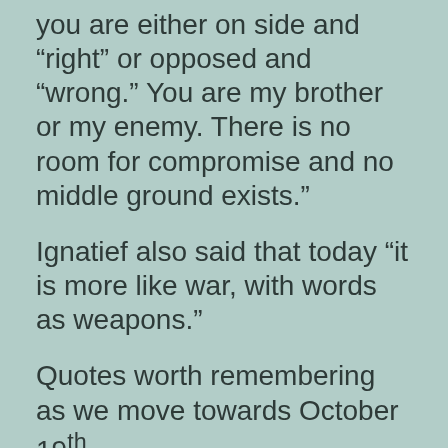you are either on side and “right” or opposed and “wrong.” You are my brother or my enemy. There is no room for compromise and no middle ground exists.”
Ignatief also said that today “it is more like war, with words as weapons.”
Quotes worth remembering as we move towards October 19th.
The silly season, attack ads, fake news and everything else that goes with modern day elections has arrived.